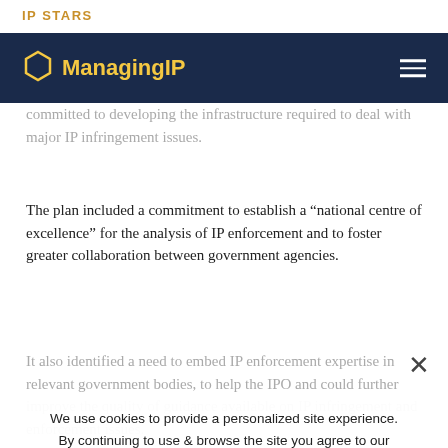IP STARS
[Figure (logo): Managing IP logo with hexagon icon on dark navy navigation bar]
committed to developing the infrastructure required to deal with major IP infringement issues.
The plan included a commitment to establish a “national centre of excellence” for the analysis of IP enforcement and to foster greater collaboration between government agencies.
It also identified a need to embed IP enforcement expertise in relevant government bodies, to help the IPO andould further improve the quality of guidance available on IP infringement and enforcement issues.
The five-year strategy included a commitment to ensure the UK’s IP regime wouldn’t be weakened as part of new trade deals agreed after Brexit.
We use cookies to provide a personalized site experience. By continuing to use & browse the site you agree to our Privacy Policy.